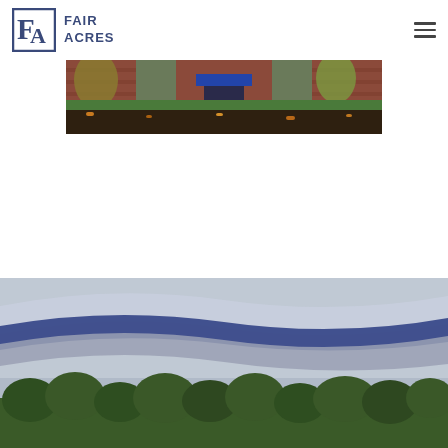[Figure (logo): Fair Acres logo with stylized FA monogram and text 'Fair Acres' in blue serif letters]
[Figure (photo): Panoramic photo of a brick building entrance with green lawn, autumn leaves, and trees in fall colors]
[Figure (photo): Landscape scene with blue and grey wave design bands overlaid on a photo of green treetops under an overcast sky]